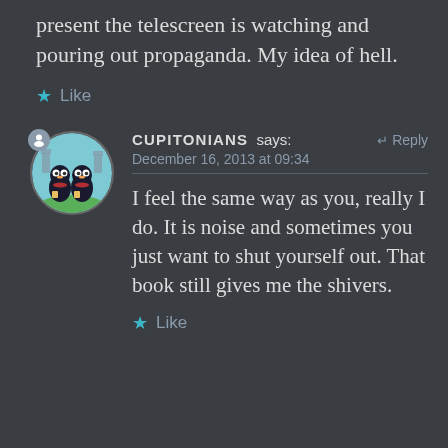when there are no others physically present the telescreen is watching and pouring out propaganda. My idea of hell.
Like
CUPITONIANS says:   Reply
December 16, 2013 at 09:34
I feel the same way as you, really I do. It is noise and sometimes you just want to shut yourself out. That book still gives me the shivers.
Like